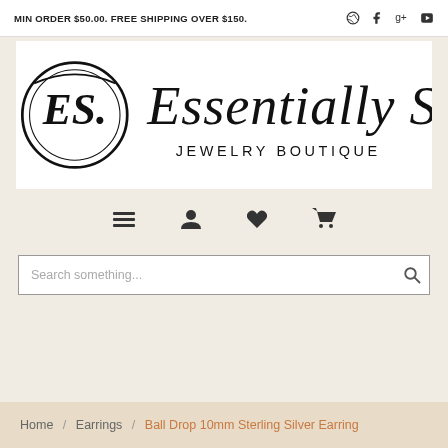MIN ORDER $50.00. FREE SHIPPING OVER $150.
[Figure (logo): Essentially Silver Jewelry Boutique logo with circular ES monogram and cursive script text]
[Figure (infographic): Navigation icon bar with hamburger menu, user/account, heart/wishlist, and shopping cart icons]
Search something...
Home / Earrings / Ball Drop 10mm Sterling Silver Earring